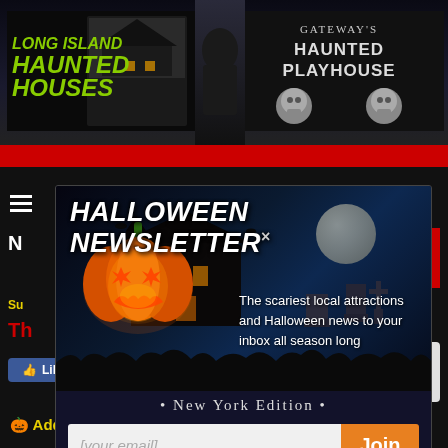[Figure (screenshot): Long Island Haunted Houses website header logo on left, Gateway's Haunted Playhouse logo on right, dark Halloween-themed banner]
[Figure (screenshot): Halloween Newsletter popup modal with glowing jack-o-lantern pumpkin, haunted house silhouette under moonlight, gravestones, and dark blue spooky background]
HALLOWEEN NEWSLETTER×
The scariest local attractions and Halloween news to your inbox all season long
• New York Edition •
[your email]
Join
Like 29
Share 165
Add To Favorites